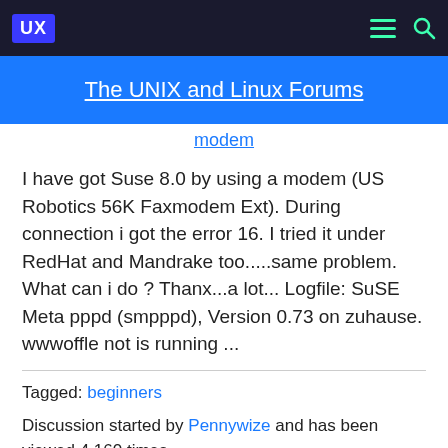UX [menu icon] [search icon]
The UNIX and Linux Forums
modem
I have got Suse 8.0 by using a modem (US Robotics 56K Faxmodem Ext). During connection i got the error 16. I tried it under RedHat and Mandrake too.....same problem. What can i do ? Thanx...a lot... Logfile: SuSE Meta pppd (smpppd), Version 0.73 on zuhause. wwwoffle not is running ...
Tagged: beginners
Discussion started by Pennywize and has been viewed 4,160 times.